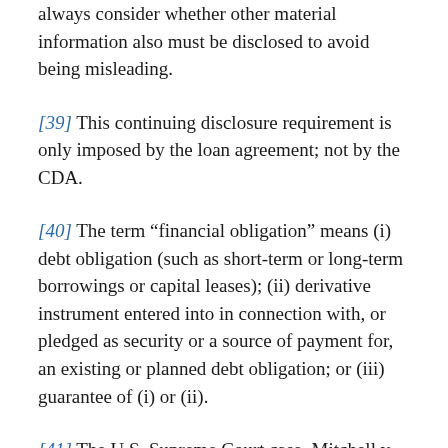always consider whether other material information also must be disclosed to avoid being misleading.
[39] This continuing disclosure requirement is only imposed by the loan agreement; not by the CDA.
[40] The term “financial obligation” means (i) debt obligation (such as short-term or long-term borrowings or capital leases); (ii) derivative instrument entered into in connection with, or pledged as security or a source of payment for, an existing or planned debt obligation; or (iii) guarantee of (i) or (ii).
[41] The U.S. Supreme Court case, Mitchell v.